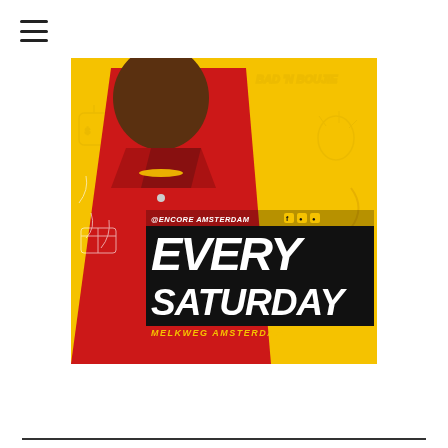[Figure (illustration): Event promotional poster for Encore Amsterdam every Saturday at Melkweg Amsterdam, featuring a man in a red jacket on a yellow background with 'EVERY SATURDAY' text and social media icons]